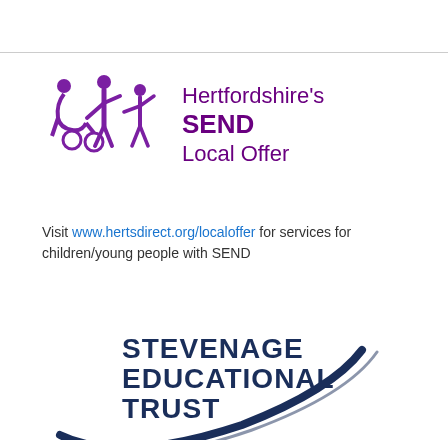[Figure (logo): Hertfordshire's SEND Local Offer logo with purple figures icon and text]
Visit www.hertsdirect.org/localoffer for services for children/young people with SEND
[Figure (logo): Stevenage Educational Trust logo with dark blue text and swoosh arc]